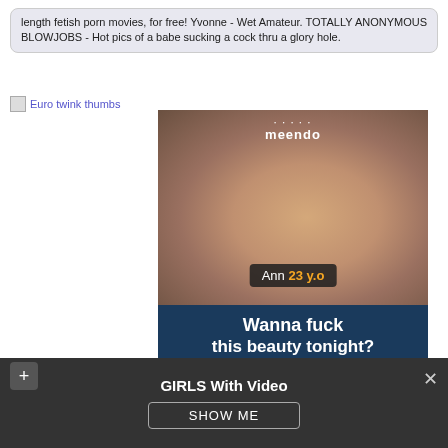length fetish porn movies, for free! Yvonne - Wet Amateur. TOTALLY ANONYMOUS BLOWJOBS - Hot pics of a babe sucking a cock thru a glory hole.
Euro twink thumbs
[Figure (photo): Advertisement photo showing a young woman with text overlay 'Ann 23 y.o' and caption 'Wanna fuck this beauty tonight?' with Yes/No buttons, meendo branding]
GIRLS With Video
SHOW ME